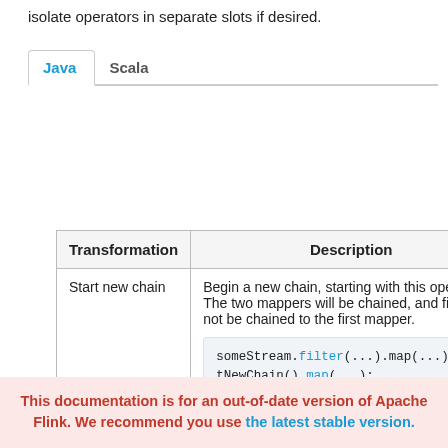isolate operators in separate slots if desired.
Java	Scala
| Transformation | Description |
| --- | --- |
| Start new chain | Begin a new chain, starting with this operator. The two mappers will be chained, and filter will not be chained to the first mapper.

someStream.filter(...).map(...).startNewChain().map(...); |
| Disable chaining | Do not chain the map operator |
This documentation is for an out-of-date version of Apache Flink. We recommend you use the latest stable version.